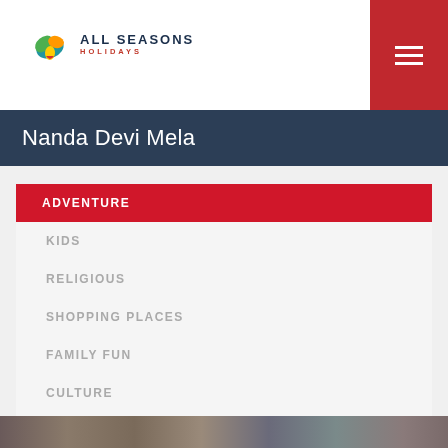[Figure (logo): All Seasons Holidays logo with colorful leaf/bird icon and brand name]
Nanda Devi Mela
ADVENTURE
KIDS
RELIGIOUS
SHOPPING PLACES
FAMILY FUN
CULTURE
NATURE
WEEKEND GETAWAY
[Figure (photo): Crowd photo strip at bottom of page]